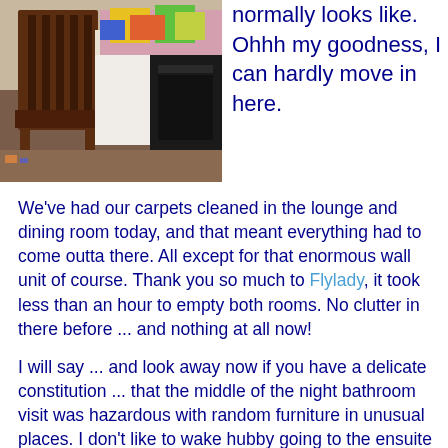[Figure (photo): Photo of a cluttered room showing a wooden chair, a table covered with colorful items, and a large black speaker or cabinet. Room appears very messy with furniture crowded together.]
normally looks like. Ohhh my goodness, I can hardly move in here.
We've had our carpets cleaned in the lounge and dining room today, and that meant everything had to come outta there. All except for that enormous wall unit of course. Thank you so much to Flylady, it took less than an hour to empty both rooms. No clutter in there before ... and nothing at all now!
I will say ... and look away now if you have a delicate constitution ... that the middle of the night bathroom visit was hazardous with random furniture in unusual places. I don't like to wake hubby going to the ensuite ... is that too much information for you all? *ggls*
I just don't know how I'm going to get any sewing done - I